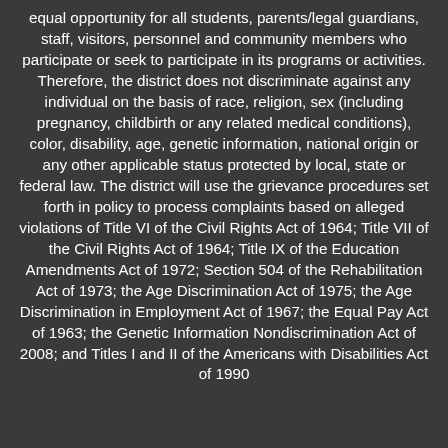equal opportunity for all students, parents/legal guardians, staff, visitors, personnel and community members who participate or seek to participate in its programs or activities. Therefore, the district does not discriminate against any individual on the basis of race, religion, sex (including pregnancy, childbirth or any related medical conditions), color, disability, age, genetic information, national origin or any other applicable status protected by local, state or federal law. The district will use the grievance procedures set forth in policy to process complaints based on alleged violations of Title VI of the Civil Rights Act of 1964; Title VII of the Civil Rights Act of 1964; Title IX of the Education Amendments Act of 1972; Section 504 of the Rehabilitation Act of 1973; the Age Discrimination Act of 1975; the Age Discrimination in Employment Act of 1967; the Equal Pay Act of 1963; the Genetic Information Nondiscrimination Act of 2008; and Titles I and II of the Americans with Disabilities Act of 1990